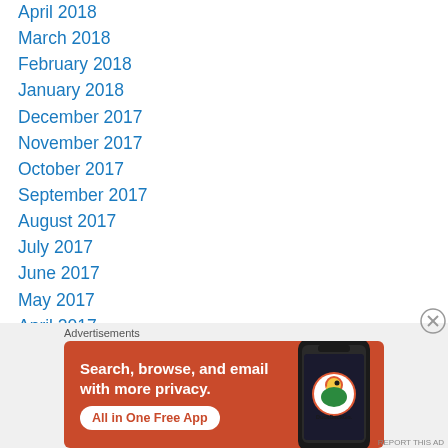April 2018
March 2018
February 2018
January 2018
December 2017
November 2017
October 2017
September 2017
August 2017
July 2017
June 2017
May 2017
April 2017
March 2017
Advertisements
[Figure (illustration): DuckDuckGo advertisement banner showing 'Search, browse, and email with more privacy. All in One Free App' with a phone image and DuckDuckGo logo on an orange background.]